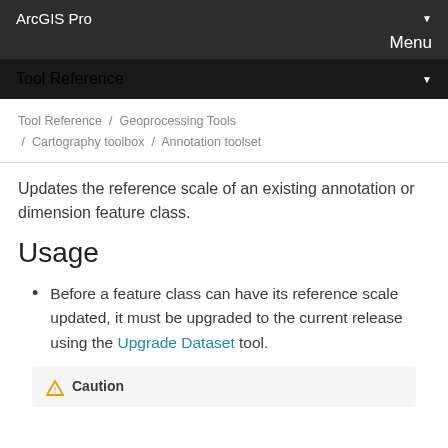ArcGIS Pro
Menu
Tool Reference
Tool Reference / Geoprocessing Tools / Cartography toolbox / Annotation toolset
Updates the reference scale of an existing annotation or dimension feature class.
Usage
Before a feature class can have its reference scale updated, it must be upgraded to the current release using the Upgrade Dataset tool.
Caution